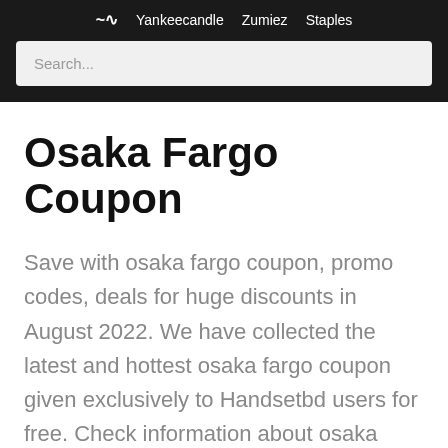Yankeecandle  Zumiez  Staples
Search...
Osaka Fargo Coupon
Save with osaka fargo coupon, promo codes, deals for huge discounts in August 2022. We have collected the latest and hottest osaka fargo coupon given exclusively to Handsetbd users for free. Check information about osaka fargo coupon by clicking on the most relevant link below before you buy